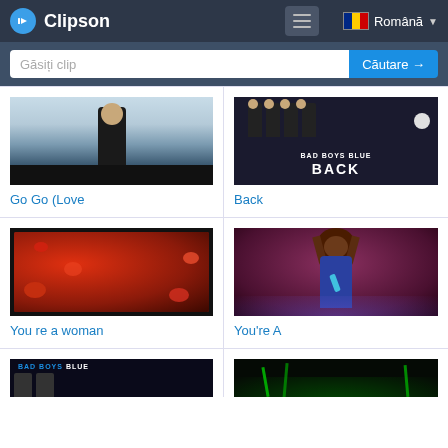Clipson
Găsiți clip
Căutare →
[Figure (screenshot): Thumbnail of a person in black turtleneck against light background, with black bar at bottom]
Go Go (Love
[Figure (screenshot): Album cover for Bad Boys Blue Back - four men in black suits, title text BACK]
Back
[Figure (screenshot): Thumbnail showing red flower/abstract pattern on black background]
You re a woman
[Figure (screenshot): Thumbnail of a performer with dreadlocks holding a microphone, purple/red stage lighting]
You're A
[Figure (screenshot): Bad Boys Blue album thumbnail with text BAD BOYS BLUE]
[Figure (screenshot): Dark thumbnail with green lighting/stage background]